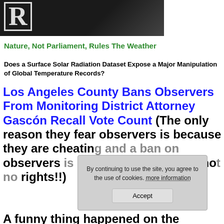[Figure (photo): Dark banner image with white letter R logo/masthead against dark background]
Nature, Not Parliament, Rules The Weather
Does a Surface Solar Radiation Dataset Expose a Major Manipulation of Global Temperature Records?
Los Angeles County Bans Observers From Monitoring District Attorney Gascón Recall Vote Count (The only reason they fear observers is because they are cheating and a ban on observers is itself a confession, not no rights!!)
A funny thing happened on the